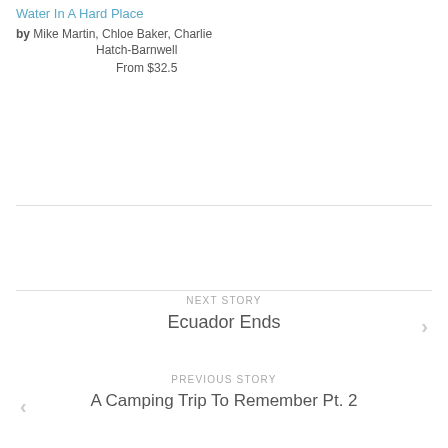Water In A Hard Place
by Mike Martin, Chloe Baker, Charlie Hatch-Barnwell
From $32.5
NEXT STORY
Ecuador Ends
PREVIOUS STORY
A Camping Trip To Remember Pt. 2